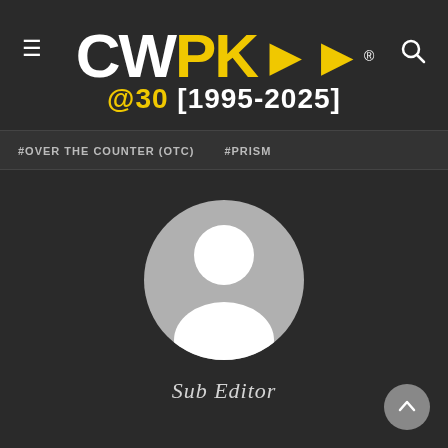CWPK>> @30 [1995-2025]
#OVER THE COUNTER (OTC)
#PRISM
[Figure (illustration): Generic user avatar placeholder: grey circle with white silhouette of a person (head and shoulders)]
Sub Editor